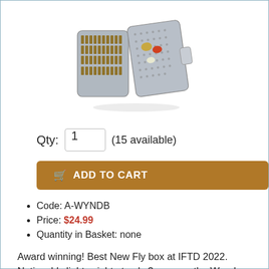[Figure (photo): Open fly fishing box filled with colorful fly lures on both sides, viewed from an angle, gray plastic case.]
Qty: 1 (15 available)
ADD TO CART
Code: A-WYNDB
Price: $24.99
Quantity in Basket: none
Award winning! Best New Fly box at IFTD 2022. Noticeably lightweight at only 3 ounces, the Wood Peeker Series 81 is a rubber design that is